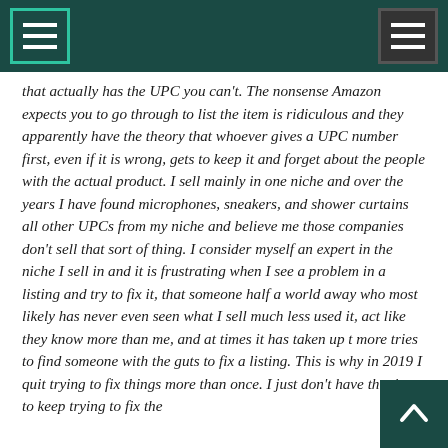[navigation header with hamburger menu buttons]
that actually has the UPC you can't. The nonsense Amazon expects you to go through to list the item is ridiculous and they apparently have the theory that whoever gives a UPC number first, even if it is wrong, gets to keep it and forget about the people with the actual product. I sell mainly in one niche and over the years I have found microphones, sneakers, and shower curtains all other UPCs from my niche and believe me those companies don't sell that sort of thing. I consider myself an expert in the niche I sell in and it is frustrating when I see a problem in a listing and try to fix it, that someone half a world away who most likely has never even seen what I sell much less used it, act like they know more than me, and at times it has taken up to more tries to find someone with the guts to fix a listing. This is why in 2019 I quit trying to fix things more than once. I just don't have the time to keep trying to fix the